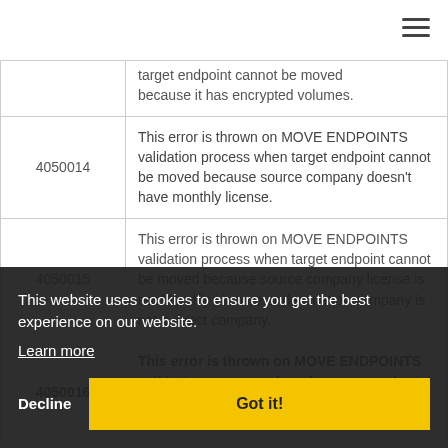| Code | Description |
| --- | --- |
|  | target endpoint cannot be moved because it has encrypted volumes. |
| 4050014 | This error is thrown on MOVE ENDPOINTS validation process when target endpoint cannot be moved because source company doesn't have monthly license. |
| 4050015 | This error is thrown on MOVE ENDPOINTS validation process when target endpoint cannot be moved because source company license is not Monthly License or destination company is not a direct company. |
| 4050016 | This error is thrown on MOVE ENDPOINTS validation process when the target endpoint cannot be moved because the source company has paid... |